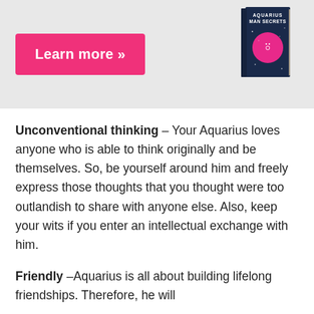[Figure (illustration): Advertisement banner with a pink 'Learn more »' button and a book cover for 'Aquarius Man Secrets' on a light grey background]
Unconventional thinking – Your Aquarius loves anyone who is able to think originally and be themselves. So, be yourself around him and freely express those thoughts that you thought were too outlandish to share with anyone else. Also, keep your wits if you enter an intellectual exchange with him.
Friendly –Aquarius is all about building lifelong friendships. Therefore, he will